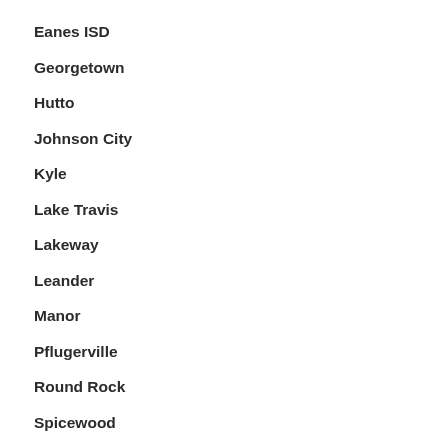Eanes ISD
Georgetown
Hutto
Johnson City
Kyle
Lake Travis
Lakeway
Leander
Manor
Pflugerville
Round Rock
Spicewood